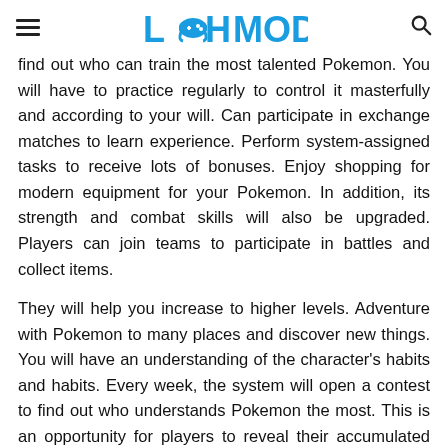LAHMOD (logo)
find out who can train the most talented Pokemon. You will have to practice regularly to control it masterfully and according to your will. Can participate in exchange matches to learn experience. Perform system-assigned tasks to receive lots of bonuses. Enjoy shopping for modern equipment for your Pokemon. In addition, its strength and combat skills will also be upgraded. Players can join teams to participate in battles and collect items.
They will help you increase to higher levels. Adventure with Pokemon to many places and discover new things. You will have an understanding of the character's habits and habits. Every week, the system will open a contest to find out who understands Pokemon the most. This is an opportunity for players to reveal their accumulated knowledge base. If you win, you will have a lot of advantages when participating in large-scale matches of Pokemon.